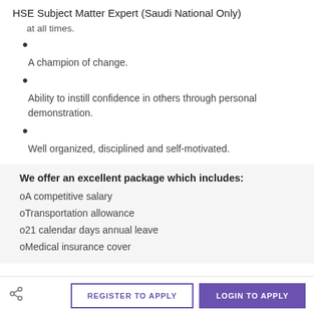HSE Subject Matter Expert (Saudi National Only)
at all times.
A champion of change.
Ability to instill confidence in others through personal demonstration.
Well organized, disciplined and self-motivated.
We offer an excellent package which includes:
oA competitive salary
oTransportation allowance
o21 calendar days annual leave
oMedical insurance cover